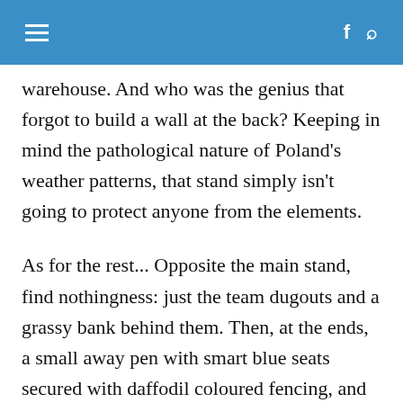≡  f  🔍
warehouse. And who was the genius that forgot to build a wall at the back? Keeping in mind the pathological nature of Poland's weather patterns, that stand simply isn't going to protect anyone from the elements.
As for the rest... Opposite the main stand, find nothingness: just the team dugouts and a grassy bank behind them. Then, at the ends, a small away pen with smart blue seats secured with daffodil coloured fencing, and at the other, a curvy open stand housing the more vocal home fans.
Facilities: a hot dog van selling sausages and